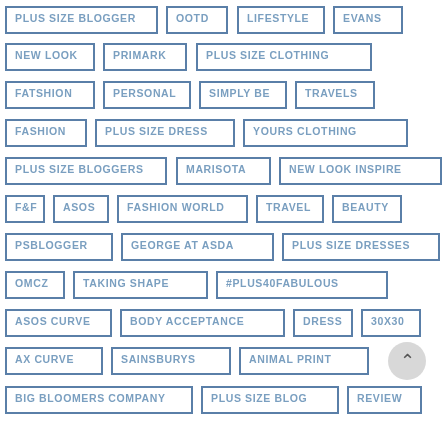PLUS SIZE BLOGGER
OOTD
LIFESTYLE
EVANS
NEW LOOK
PRIMARK
PLUS SIZE CLOTHING
FATSHION
PERSONAL
SIMPLY BE
TRAVELS
FASHION
PLUS SIZE DRESS
YOURS CLOTHING
PLUS SIZE BLOGGERS
MARISOTA
NEW LOOK INSPIRE
F&F
ASOS
FASHION WORLD
TRAVEL
BEAUTY
PSBLOGGER
GEORGE AT ASDA
PLUS SIZE DRESSES
OMCZ
TAKING SHAPE
#PLUS40FABULOUS
ASOS CURVE
BODY ACCEPTANCE
DRESS
30X30
AX CURVE
SAINSBURYS
ANIMAL PRINT
BIG BLOOMERS COMPANY
PLUS SIZE BLOG
REVIEW